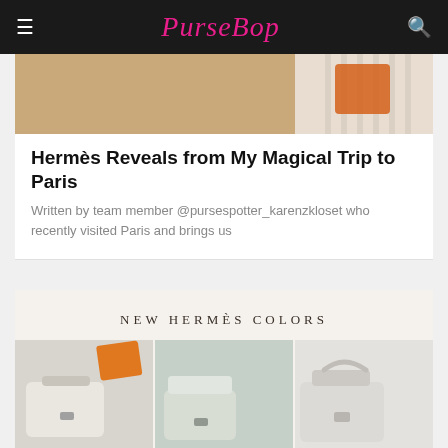PurseBop
[Figure (photo): Top portion of a fashion/luxury handbag image showing striped fabric and orange Hermès bag]
Hermès Reveals from My Magical Trip to Paris
Written by team member @pursespotter_karenzkloset who recently visited Paris and brings us
[Figure (photo): Collage image with text NEW HERMÈS COLORS and three Hermès Kelly bags in different colors - lavender/white, mint/green, and ivory/white]